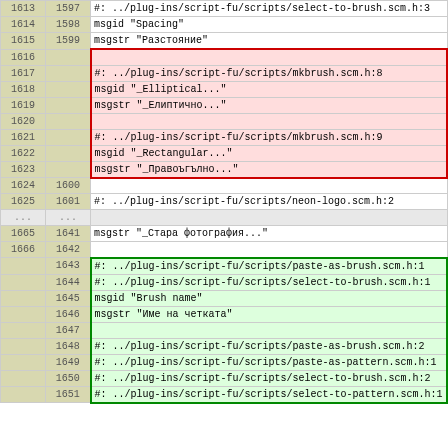| col_a | col_b | content |
| --- | --- | --- |
| 1613 | 1597 | #: ../plug-ins/script-fu/scripts/select-to-brush.scm.h:3 |
| 1614 | 1598 | msgid "Spacing" |
| 1615 | 1599 | msgstr "Разстояние" |
| 1616 |  |  |
| 1617 |  | #: ../plug-ins/script-fu/scripts/mkbrush.scm.h:8 |
| 1618 |  | msgid "_Elliptical..." |
| 1619 |  | msgstr "_Елиптично..." |
| 1620 |  |  |
| 1621 |  | #: ../plug-ins/script-fu/scripts/mkbrush.scm.h:9 |
| 1622 |  | msgid "_Rectangular..." |
| 1623 |  | msgstr "_Правоъгълно..." |
| 1624 | 1600 |  |
| 1625 | 1601 | #: ../plug-ins/script-fu/scripts/neon-logo.scm.h:2 |
| ... | ... |  |
| 1665 | 1641 | msgstr "_Стара фотография..." |
| 1666 | 1642 |  |
|  | 1643 | #: ../plug-ins/script-fu/scripts/paste-as-brush.scm.h:1 |
|  | 1644 | #: ../plug-ins/script-fu/scripts/select-to-brush.scm.h:1 |
|  | 1645 | msgid "Brush name" |
|  | 1646 | msgstr "Име на четката" |
|  | 1647 |  |
|  | 1648 | #: ../plug-ins/script-fu/scripts/paste-as-brush.scm.h:2 |
|  | 1649 | #: ../plug-ins/script-fu/scripts/paste-as-pattern.scm.h:1 |
|  | 1650 | #: ../plug-ins/script-fu/scripts/select-to-brush.scm.h:2 |
|  | 1651 | #: ../plug-ins/script-fu/scripts/select-to-pattern.scm.h:1 |